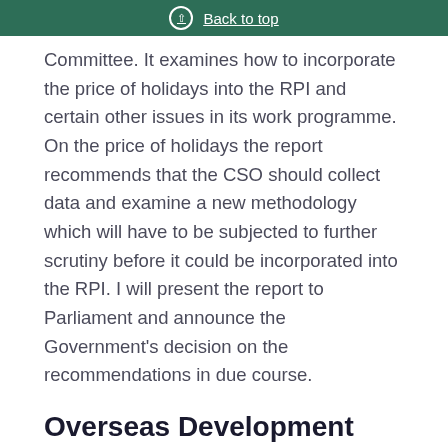Back to top
Committee. It examines how to incorporate the price of holidays into the RPI and certain other issues in its work programme. On the price of holidays the report recommends that the CSO should collect data and examine a new methodology which will have to be subjected to further scrutiny before it could be incorporated into the RPI. I will present the report to Parliament and announce the Government's decision on the recommendations in due course.
Overseas Development
Cambodia
Mr. Melli...